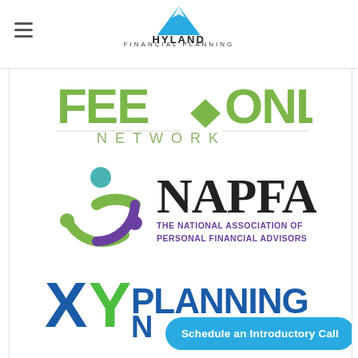[Figure (logo): Hyland Financial Planning logo - blue mountain triangle above HYLAND FINANCIAL PLANNING text]
[Figure (logo): Fee Only Network logo - green FEE arrow ONLY text with NETWORK below]
[Figure (logo): NAPFA logo - The National Association of Personal Financial Advisors with circular people icon]
[Figure (logo): XY Planning Network logo - blue and green XY letters with PLANNING NETWORK text]
Schedule an Introductory Call